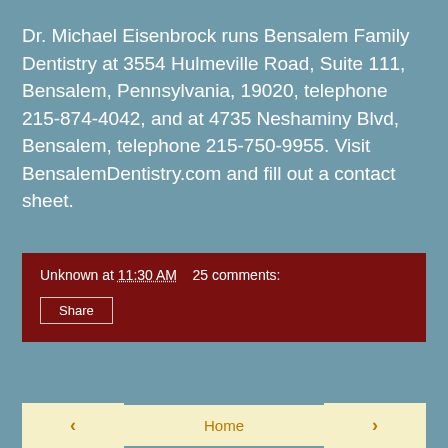Dr. Michael Eisenbrock runs Bensalem Family Dentistry at 3554 Hulmeville Road, Suite 111, Bensalem, Pennsylvania, 19020, telephone 215-874-4042, and at 4735 Neshaminy Blvd, Bensalem, telephone 215-750-9955. Visit BensalemDentistry.com and fill out a contact sheet.
Unknown at 11:30 AM   25 comments:
Share
‹
Home
›
View web version
About Me